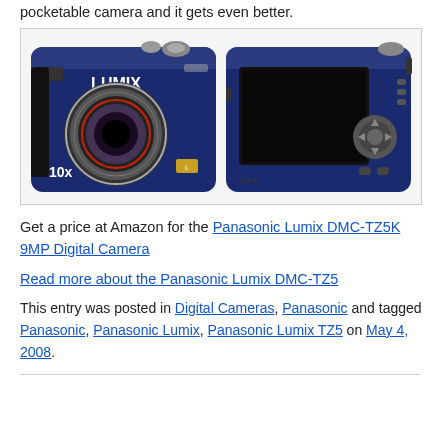pocketable camera and it gets even better.
[Figure (photo): Panasonic Lumix digital camera shown from front (blue, with 10x zoom lens) and back (showing large LCD screen and controls)]
Get a price at Amazon for the Panasonic Lumix DMC-TZ5K 9MP Digital Camera
Read more about the Panasonic Lumix DMC-TZ5
This entry was posted in Digital Cameras, Panasonic and tagged Panasonic, Panasonic Lumix, Panasonic Lumix TZ5 on May 4, 2008.